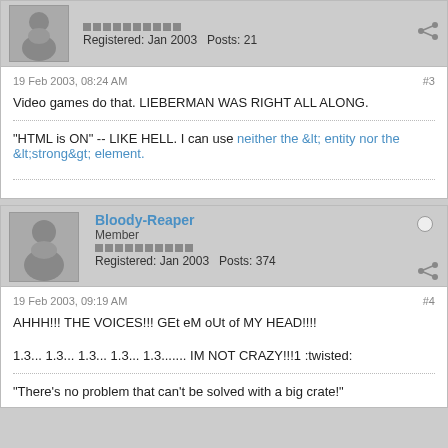Registered: Jan 2003   Posts: 21
19 Feb 2003, 08:24 AM  #3
Video games do that. LIEBERMAN WAS RIGHT ALL ALONG.
"HTML is ON" -- LIKE HELL. I can use neither the &lt; entity nor the &lt;strong&gt; element.
Bloody-Reaper
Member
Registered: Jan 2003   Posts: 374
19 Feb 2003, 09:19 AM  #4
AHHH!!! THE VOICES!!! GEt eM oUt of MY HEAD!!!!
1.3... 1.3... 1.3... 1.3... 1.3....... IM NOT CRAZY!!!1 :twisted:
"There's no problem that can't be solved with a big crate!"